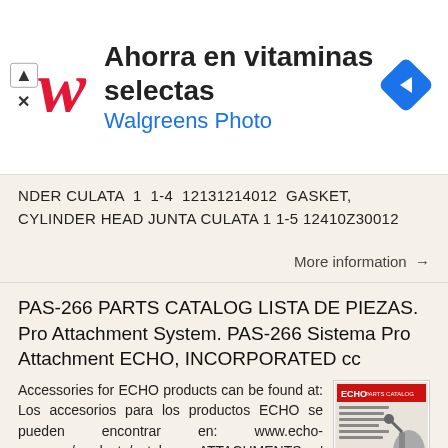[Figure (other): Walgreens advertisement banner: red cursive 'W' logo, headline 'Ahorra en vitaminas selectas', subline 'Walgreens Photo' in blue, navigation diamond icon on right. Close/arrow buttons on left.]
NDER CULATA 1 1-4 12131214012 GASKET, CYLINDER HEAD JUNTA CULATA 1 1-5 12410Z30012
More information →
PAS-266 PARTS CATALOG LISTA DE PIEZAS. Pro Attachment System. PAS-266 Sistema Pro Attachment ECHO, INCORPORATED cc
Accessories for ECHO products can be found at: Los accesorios para los productos ECHO se pueden encontrar en: www.echo-usa.com/products/catalogs ATTACHMENTS: ' Extension 00 Blower 000 Brushcutter 0000
[Figure (photo): Thumbnail image of ECHO PAS-266 parts catalog cover showing equipment.]
More information →